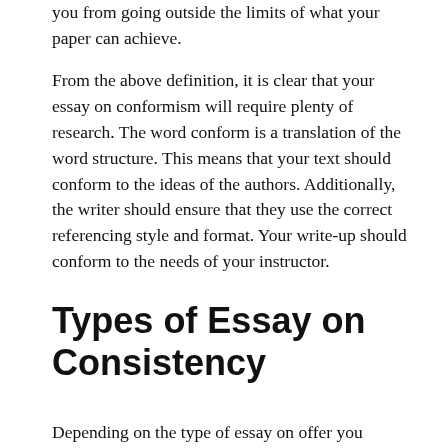you from going outside the limits of what your paper can achieve.
From the above definition, it is clear that your essay on conformism will require plenty of research. The word conform is a translation of the word structure. This means that your text should conform to the ideas of the authors. Additionally, the writer should ensure that they use the correct referencing style and format. Your write-up should conform to the needs of your instructor.
Types of Essay on Consistency
Depending on the type of essay on offer you